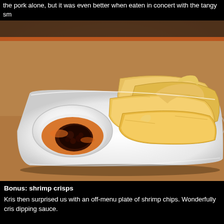the pork alone, but it was even better when eaten in concert with the tangy sm
[Figure (photo): A white rectangular plate with a small white bowl containing dark dipping sauce with orange oil, accompanied by golden fried shrimp crisps/chips, on a brown wooden table background.]
Bonus: shrimp crisps
Kris then surprised us with an off-menu plate of shrimp chips. Wonderfully cris dipping sauce.